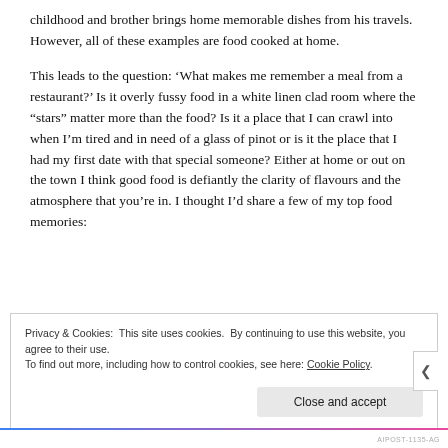childhood and brother brings home memorable dishes from his travels. However, all of these examples are food cooked at home.
This leads to the question: ‘What makes me remember a meal from a restaurant?’ Is it overly fussy food in a white linen clad room where the “stars” matter more than the food? Is it a place that I can crawl into when I’m tired and in need of a glass of pinot or is it the place that I had my first date with that special someone? Either at home or out on the town I think good food is defiantly the clarity of flavours and the atmosphere that you’re in. I thought I’d share a few of my top food memories:
Privacy & Cookies: This site uses cookies. By continuing to use this website, you agree to their use. To find out more, including how to control cookies, see here: Cookie Policy